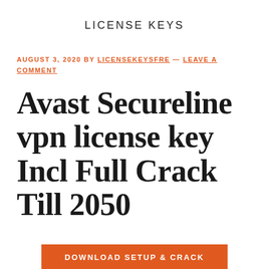LICENSE KEYS
AUGUST 3, 2020 BY LICENSEKEYSFRE — LEAVE A COMMENT
Avast Secureline vpn license key Incl Full Crack Till 2050
DOWNLOAD SETUP & CRACK